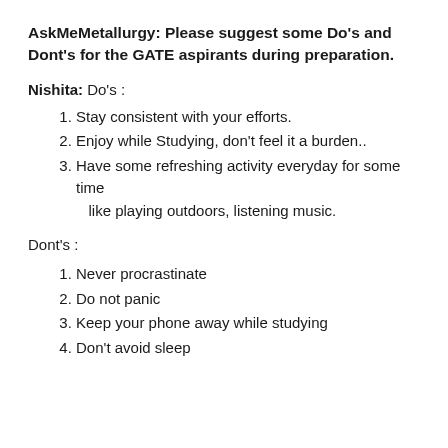AskMeMetallurgy: Please suggest some Do's and Dont's for the GATE aspirants during preparation.
Nishita: Do's :
Stay consistent with your efforts.
Enjoy while Studying, don't feel it a burden..
Have some refreshing activity everyday for some time like playing outdoors, listening music.
Dont's :
Never procrastinate
Do not panic
Keep your phone away while studying
Don't avoid sleep